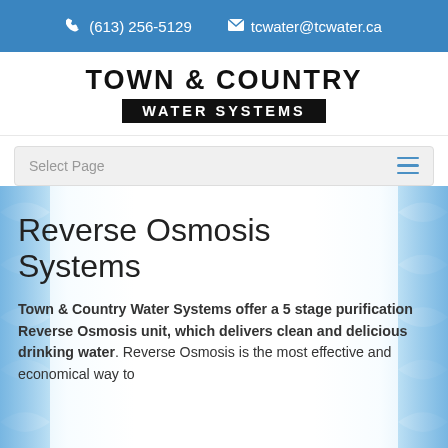(613) 256-5129  tcwater@tcwater.ca
TOWN & COUNTRY WATER SYSTEMS
Select Page
Reverse Osmosis Systems
Town & Country Water Systems offer a 5 stage purification Reverse Osmosis unit, which delivers clean and delicious drinking water. Reverse Osmosis is the most effective and economical way to